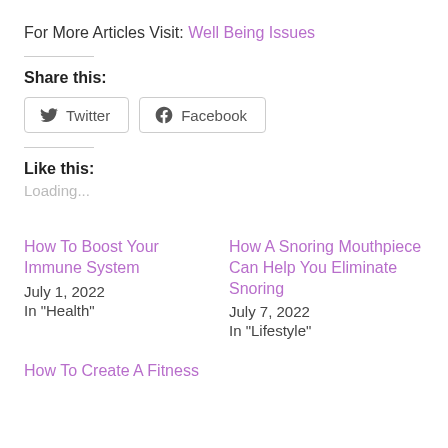For More Articles Visit: Well Being Issues
Share this:
Twitter  Facebook
Like this:
Loading...
How To Boost Your Immune System
July 1, 2022
In "Health"
How A Snoring Mouthpiece Can Help You Eliminate Snoring
July 7, 2022
In "Lifestyle"
How To Create A Fitness